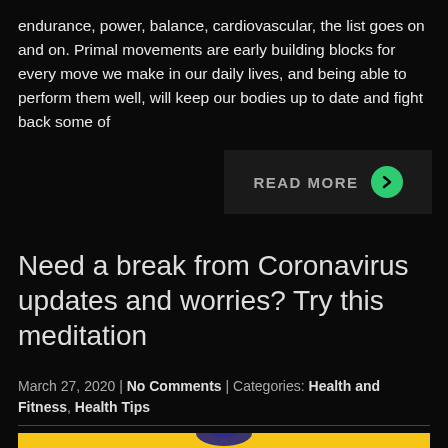endurance, power, balance, cardiovascular, the list goes on and on. Primal movements are early building blocks for every move we make in our daily lives, and being able to perform them well, will keep our bodies up to date and fight back some of
[Figure (other): READ MORE button with green circular arrow icon on dark background]
Need a break from Coronavirus updates and worries? Try this meditation
March 27, 2020 | No Comments | Categories: Health and Fitness, Health Tips
[Figure (photo): Yellow/gold background with a small meditation figure icon at the bottom center]